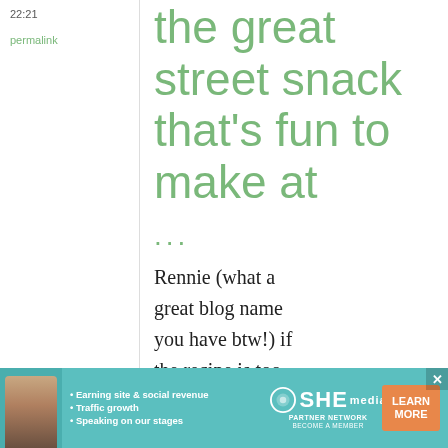22:21
permalink
the great street snack that's fun to make at
...
Rennie (what a great blog name you have btw!) if the recipe is too much work you
[Figure (infographic): Advertisement banner for SHE Media Partner Network with a woman's photo, bullet points about earning site & social revenue, traffic growth, speaking on stages, SHE logo, and a Learn More button.]